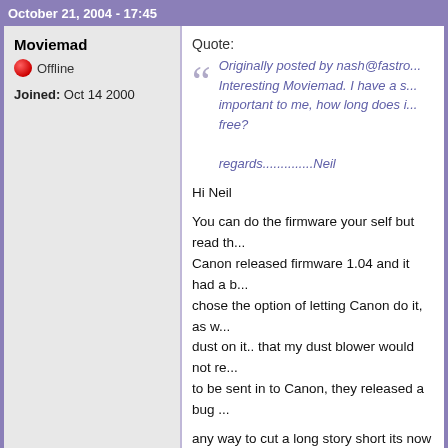October 21, 2004 - 17:45
Moviemad
Offline
Joined: Oct 14 2000
Quote:
Originally posted by nash@fastr... Interesting Moviemad. I have a s... important to me, how long does i... free?
regards..............Neil
Hi Neil
You can do the firmware your self but read th... Canon released firmware 1.04 and it had a b... chose the option of letting Canon do it, as w... dust on it.. that my dust blower would not re... to be sent in to Canon, they released a bug ...
any way to cut a long story short its now bac... to get some photography done..
but the weather is really awful